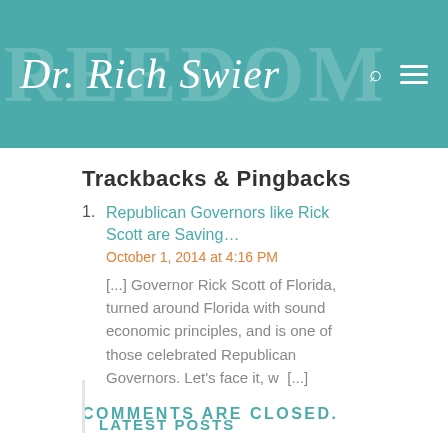Dr. Rich Swier
Trackbacks & Pingbacks
Republican Governors like Rick Scott are Saving...
October 1, 2014 at 4:16 PM
[...] Governor Rick Scott of Florida, turned around Florida with sound economic principles, and is one of those celebrated Republican Governors. Let’s face it, w [...]
COMMENTS ARE CLOSED.
LATEST POSTS